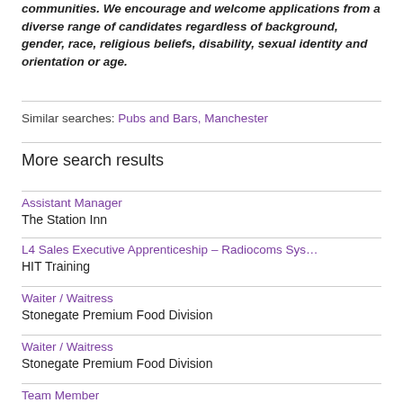communities. We encourage and welcome applications from a diverse range of candidates regardless of background, gender, race, religious beliefs, disability, sexual identity and orientation or age.
Similar searches: Pubs and Bars, Manchester
More search results
Assistant Manager
The Station Inn
L4 Sales Executive Apprenticeship – Radiocoms Sys…
HIT Training
Waiter / Waitress
Stonegate Premium Food Division
Waiter / Waitress
Stonegate Premium Food Division
Team Member